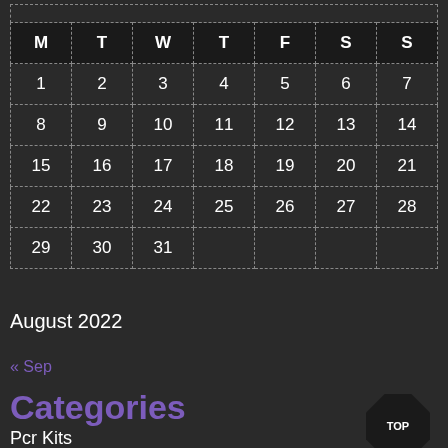| M | T | W | T | F | S | S |
| --- | --- | --- | --- | --- | --- | --- |
| 1 | 2 | 3 | 4 | 5 | 6 | 7 |
| 8 | 9 | 10 | 11 | 12 | 13 | 14 |
| 15 | 16 | 17 | 18 | 19 | 20 | 21 |
| 22 | 23 | 24 | 25 | 26 | 27 | 28 |
| 29 | 30 | 31 |  |  |  |  |
August 2022
« Sep
Categories
Pcr Kits
Polyclonal